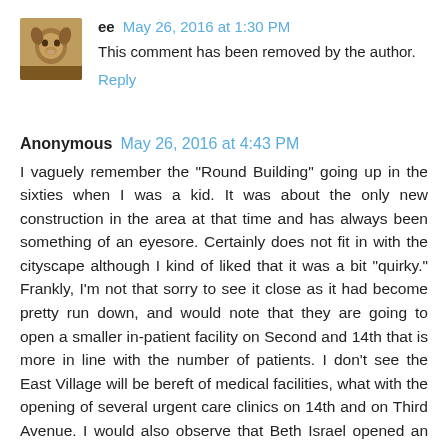[Figure (photo): Small avatar/profile photo of a person or animal, brownish tones]
ee May 26, 2016 at 1:30 PM
This comment has been removed by the author.
Reply
Anonymous May 26, 2016 at 4:43 PM
I vaguely remember the "Round Building" going up in the sixties when I was a kid. It was about the only new construction in the area at that time and has always been something of an eyesore. Certainly does not fit in with the cityscape although I kind of liked that it was a bit "quirky." Frankly, I'm not that sorry to see it close as it had become pretty run down, and would note that they are going to open a smaller in-patient facility on Second and 14th that is more in line with the number of patients. I don't see the East Village will be bereft of medical facilities, what with the opening of several urgent care clinics on 14th and on Third Avenue. I would also observe that Beth Israel opened an outpatient at Union Square a number of years ago and the Bellevue/NYU complex is only ten blocks north on First